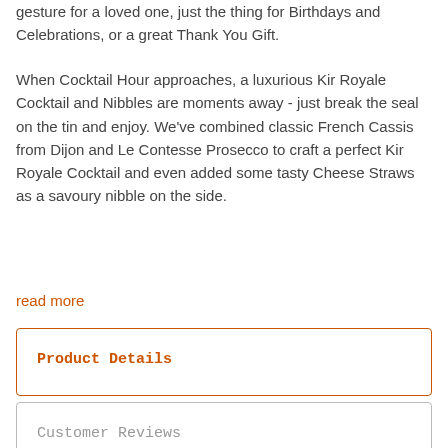gesture for a loved one, just the thing for Birthdays and Celebrations, or a great Thank You Gift.
When Cocktail Hour approaches, a luxurious Kir Royale Cocktail and Nibbles are moments away - just break the seal on the tin and enjoy. We've combined classic French Cassis from Dijon and Le Contesse Prosecco to craft a perfect Kir Royale Cocktail and even added some tasty Cheese Straws as a savoury nibble on the side.
read more
Product Details
Customer Reviews
Delivery